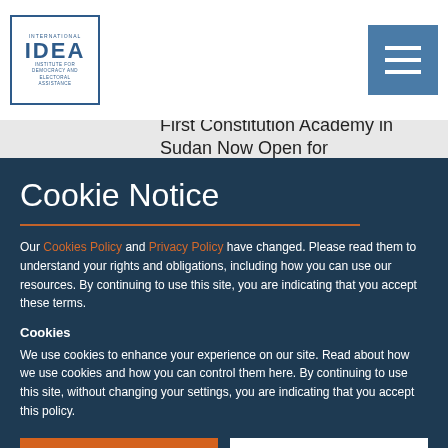[Figure (logo): International IDEA logo — blue bordered box with IDEA acronym and full name Institute for Democracy and Electoral Assistance]
[Figure (other): Hamburger menu button — steel blue square with three white horizontal lines]
First Constitution Academy in Sudan Now Open for Applications
Cookie Notice
Our Cookies Policy and Privacy Policy have changed. Please read them to understand your rights and obligations, including how you can use our resources. By continuing to use this site, you are indicating that you accept these terms.
Cookies
We use cookies to enhance your experience on our site. Read about how we use cookies and how you can control them here. By continuing to use this site, without changing your settings, you are indicating that you accept this policy.
ACCEPT ALL COOKIES
SET PREFERENCES